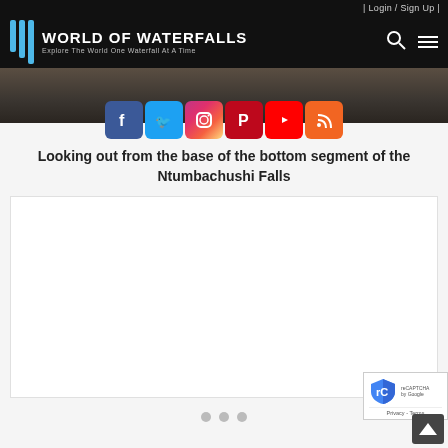| Login / Sign Up |
[Figure (logo): World of Waterfalls logo with blue vertical bars and text 'World of Waterfalls – Explore The World One Waterfall At A Time']
[Figure (photo): Hero photograph showing rocky cave/waterfall scene at Ntumbachushi Falls]
[Figure (infographic): Social media icon buttons: Facebook (blue), Twitter (blue), Instagram (gradient), Pinterest (red), YouTube (red), RSS (orange)]
Looking out from the base of the bottom segment of the Ntumbachushi Falls
[Figure (screenshot): White content area (main article body, mostly blank/loading)]
[Figure (other): Three slideshow navigation dots]
[Figure (other): reCAPTCHA badge with shield logo and Privacy - Terms text, plus back-to-top button]